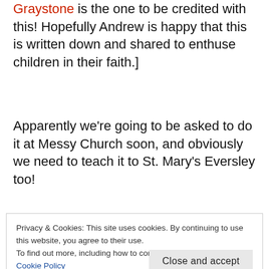Graystone is the one to be credited with this! Hopefully Andrew is happy that this is written down and shared to enthuse children in their faith.]
Apparently we’re going to be asked to do it at Messy Church soon, and obviously we need to teach it to St. Mary’s Eversley too!
[Figure (photo): Dark background image with a teal rounded rectangle shape visible at the top]
Privacy & Cookies: This site uses cookies. By continuing to use this website, you agree to their use.
To find out more, including how to control cookies, see here: Cookie Policy